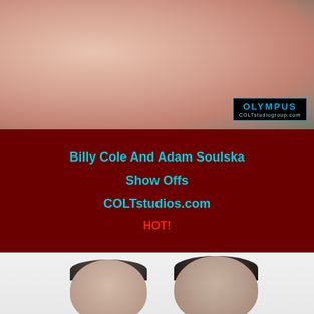[Figure (photo): Top portion of a photo showing two people close together, with an Olympus / COLTstudiogroup.com badge in the lower right corner]
Billy Cole And Adam Soulska
Show Offs
COLTstudios.com
HOT!
[Figure (photo): Bottom photo showing two young men with short dark hair kissing or about to kiss, against a light/white background]